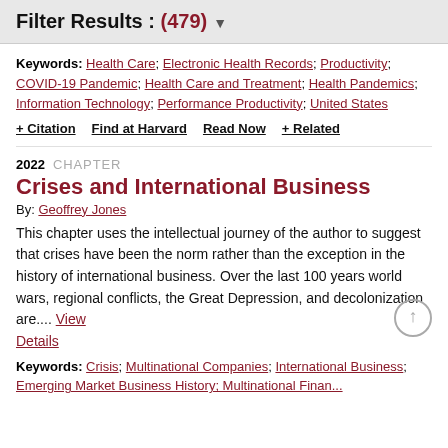Filter Results : (479)
Keywords: Health Care; Electronic Health Records; Productivity; COVID-19 Pandemic; Health Care and Treatment; Health Pandemics; Information Technology; Performance Productivity; United States
+ Citation  Find at Harvard  Read Now  + Related
2022  CHAPTER
Crises and International Business
By: Geoffrey Jones
This chapter uses the intellectual journey of the author to suggest that crises have been the norm rather than the exception in the history of international business. Over the last 100 years world wars, regional conflicts, the Great Depression, and decolonization are.... View Details
Keywords: Crisis; Multinational Companies; International Business; Emerging Market Business History; Multinational Finance...